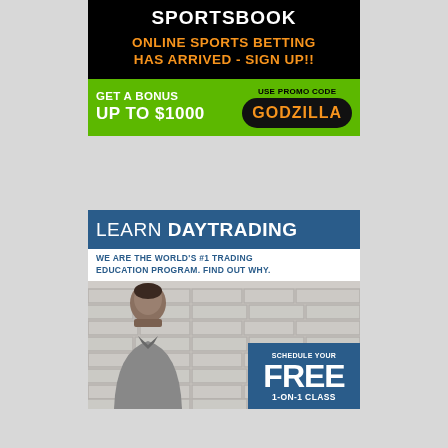[Figure (advertisement): Sportsbook online sports betting advertisement. Black background with white bold text 'SPORTSBOOK', orange text 'ONLINE SPORTS BETTING HAS ARRIVED - SIGN UP!!'. Green section below with white text 'GET A BONUS UP TO $1000' and black pill with orange text promo code 'GODZILLA'. Label 'USE PROMO CODE' in black text.]
[Figure (advertisement): Learn Daytrading advertisement. Blue background with white text 'LEARN DAYTRADING'. White strip with blue text 'WE ARE THE WORLD'S #1 TRADING EDUCATION PROGRAM. FIND OUT WHY.' Below: brick-wall background with photo of man in gray polo shirt. Blue box overlay: 'SCHEDULE YOUR FREE 1-ON-1 CLASS'.]